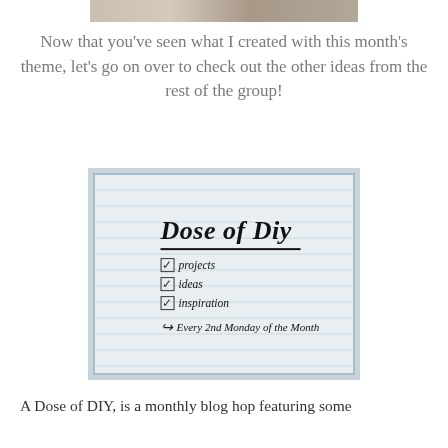[Figure (photo): Partial top edge of a photo strip showing an outdoor scene]
Now that you've seen what I created with this month's theme, let's go on over to check out the other ideas from the rest of the group!
[Figure (logo): Dose of DIY logo image on a light blue striped background. Text reads: Dose of DIY with checkboxes for projects, ideas, inspiration and tagline: Every 2nd Monday of the Month]
A Dose of DIY, is a monthly blog hop featuring some